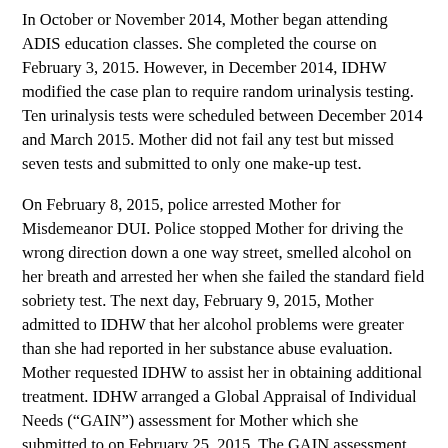In October or November 2014, Mother began attending ADIS education classes. She completed the course on February 3, 2015. However, in December 2014, IDHW modified the case plan to require random urinalysis testing. Ten urinalysis tests were scheduled between December 2014 and March 2015. Mother did not fail any test but missed seven tests and submitted to only one make-up test.
On February 8, 2015, police arrested Mother for Misdemeanor DUI. Police stopped Mother for driving the wrong direction down a one way street, smelled alcohol on her breath and arrested her when she failed the standard field sobriety test. The next day, February 9, 2015, Mother admitted to IDHW that her alcohol problems were greater than she had reported in her substance abuse evaluation. Mother requested IDHW to assist her in obtaining additional treatment. IDHW arranged a Global Appraisal of Individual Needs (“GAIN”) assessment for Mother which she submitted to on February 25, 2015. The GAIN assessment determined: (1) she had her alcohol above February 21, 2015, (2) h